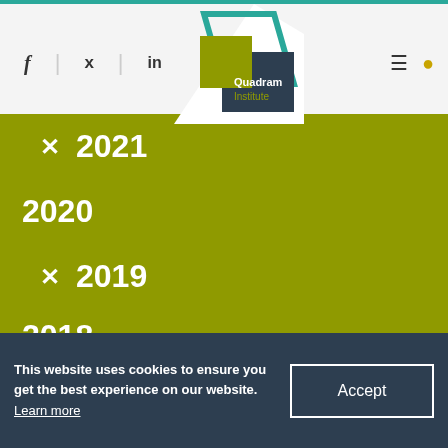f | ✓ | in  [Quadram Institute logo]  ☰ 🔍
✕ 2021
2020
✕ 2019
2018
✕ 2017
✕ 2016
This website uses cookies to ensure you get the best experience on our website. Learn more   [Accept]